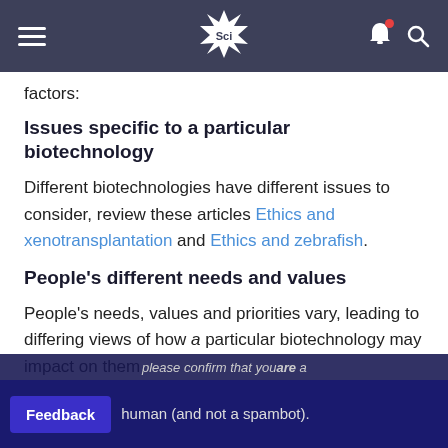Sci — navigation header
factors:
Issues specific to a particular biotechnology
Different biotechnologies have different issues to consider, review these articles Ethics and xenotransplantation and Ethics and zebrafish.
People's different needs and values
People's needs, values and priorities vary, leading to differing views of how a particular biotechnology may impact on them.
please confirm that youare a human (and not a spambot).
Feedback